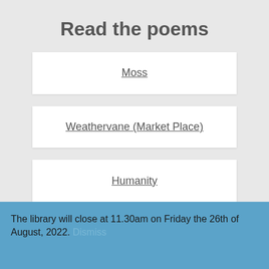Read the poems
Moss
Weathervane (Market Place)
Humanity
The library will close at 11.30am on Friday the 26th of August, 2022. Dismiss